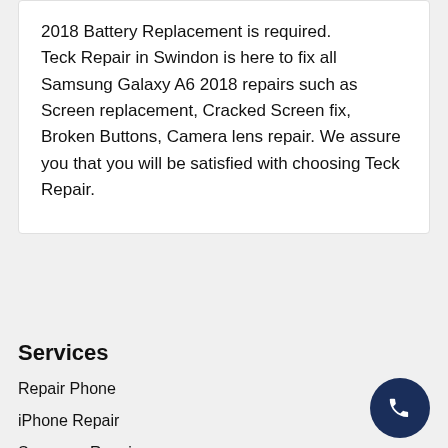2018 Battery Replacement is required. Teck Repair in Swindon is here to fix all Samsung Galaxy A6 2018 repairs such as Screen replacement, Cracked Screen fix, Broken Buttons, Camera lens repair. We assure you that you will be satisfied with choosing Teck Repair.
Services
Repair Phone
iPhone Repair
Samsung Repair